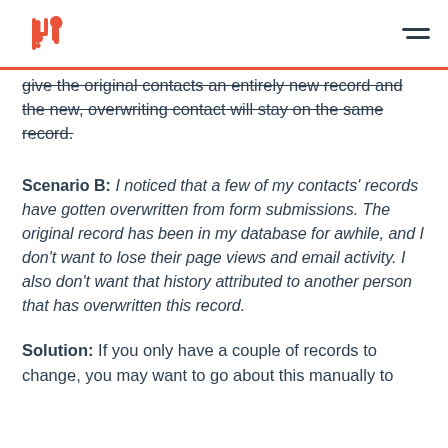HubSpot logo and hamburger menu
give the original contacts an entirely new record and the new, overwriting contact will stay on the same record.
Scenario B: I noticed that a few of my contacts' records have gotten overwritten from form submissions. The original record has been in my database for awhile, and I don't want to lose their page views and email activity. I also don't want that history attributed to another person that has overwritten this record.
Solution: If you only have a couple of records to change, you may want to go about this manually to